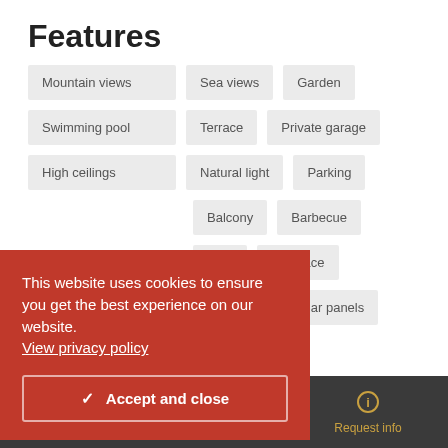Features
Mountain views
Sea views
Garden
Swimming pool
Terrace
Private garage
High ceilings
Natural light
Parking
Balcony
Barbecue
area
Fireplace
Security
Solar panels
k-in wardrobe
This website uses cookies to ensure you get the best experience on our website. View privacy policy
✓ Accept and close
Call us   Request call   Request info